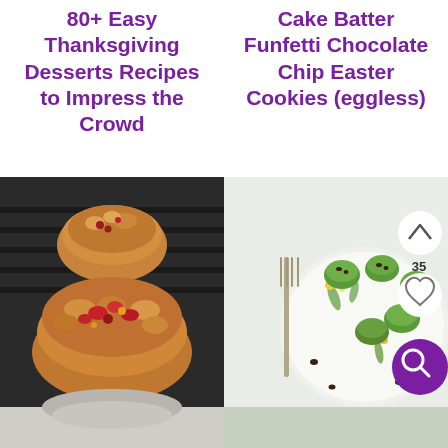80+ Easy Thanksgiving Desserts Recipes to Impress the Crowd
Cake Batter Funfetti Chocolate Chip Easter Cookies (eggless)
[Figure (photo): Photo of cranberry crumble muffins/tarts on a cooling rack, showing golden baked goods with red cranberry topping]
[Figure (photo): Photo of green matcha/pandan dumplings on a white floral plate with a fork and chocolate chips, with UI overlay buttons: up arrow, count 35, heart, and purple search icon]